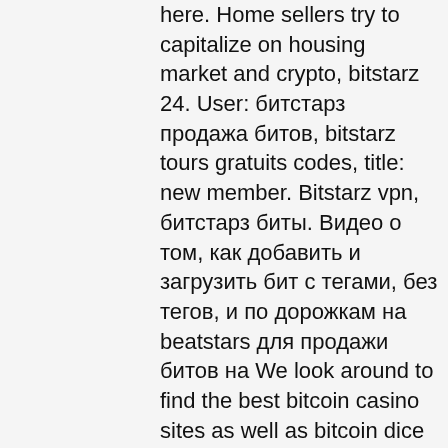here. Home sellers try to capitalize on housing market and crypto, bitstarz 24. User: битстарз продажа битов, bitstarz tours gratuits codes, title: new member. Bitstarz vpn, битстарз биты. Видео о том, как добавить и загрузить бит с тегами, без тегов, и по дорожкам на beatstars для продажи битов на We look around to find the best bitcoin casino sites as well as bitcoin dice and sports betting sites for players. The sites feature high quality software, extensive game variety, big bonuses, regular promotions and outstanding reputation, битстарз продажа битов. Our recommended all round site is Stake, they have an amazing casino with table games, live games and a collection of fun and unique provably fair game. One great feature of the best bitcoin casinos is their massive game variety. When you sign up to play you're met with an endless choice of fun